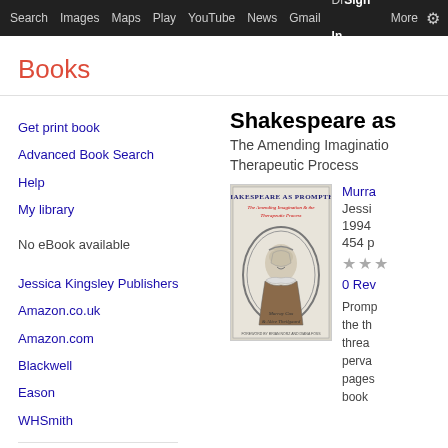Search  Images  Maps  Play  YouTube  News  Gmail  Drive  More  Sign in  ⚙
Books
Get print book
Advanced Book Search
Help
My library
No eBook available
Jessica Kingsley Publishers
Amazon.co.uk
Amazon.com
Blackwell
Eason
WHSmith
Shakespeare as
The Amending Imagination & the Therapeutic Process
[Figure (photo): Book cover of Shakespeare as Prompter showing an illustration of Shakespeare and subtitle text]
Murray Cox
Jessi
1994
454 p
★★★
0 Rev
Promp the th threa perva pages book